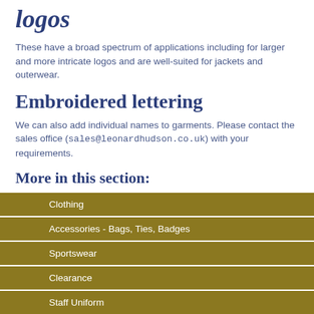logos
These have a broad spectrum of applications including for larger and more intricate logos and are well-suited for jackets and outerwear.
Embroidered lettering
We can also add individual names to garments. Please contact the sales office (sales@leonardhudson.co.uk) with your requirements.
More in this section:
Printing & Embroidery
Quality
| Clothing |
| Accessories - Bags, Ties, Badges |
| Sportswear |
| Clearance |
| Staff Uniform |